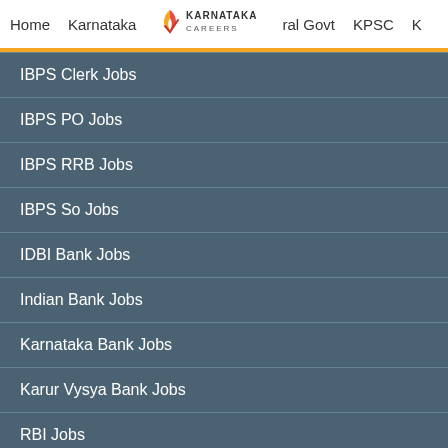Home | Karnataka | Karnataka Careers | ral Govt | KPSC | K
IBPS Clerk Jobs
IBPS PO Jobs
IBPS RRB Jobs
IBPS So Jobs
IDBI Bank Jobs
Indian Bank Jobs
Karnataka Bank Jobs
Karur Vysya Bank Jobs
RBI Jobs
SBI Jobs
South Indian Bank Jobs
Syndicate Bank Jobs